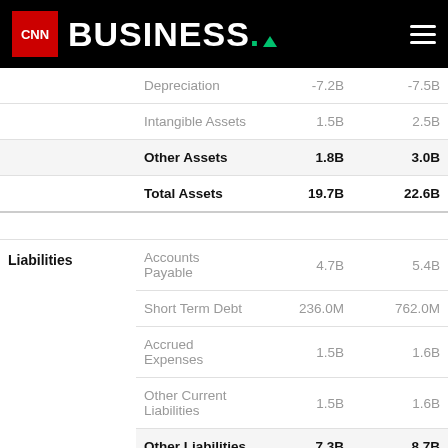CNN BUSINESS
| Category | Item | Value1 | Value2 |
| --- | --- | --- | --- |
|  | Depreciation | -7.2B | -7.5B |
|  | Intangible Assets | 1.5B | 2.5B |
|  | Other Assets | 1.8B | 3.0B |
|  | Total Assets | 19.7B | 22.6B |
| Liabilities | Accounts Payable | 4.7B | 5.4B |
|  | Short Term Debt | 236.0M | 762.0M |
|  | Accrued Expenses | 1.5B | 1.6B |
|  | Other Current Liabilities | 1.5B | 1.6B |
|  | Other Liabilities | 7.3B | 8.7B |
| Total Liabilities | Long Term Debt | 2.3B | 2.4B |
|  | Deferred Taxes | -139.0M | -25.0M |